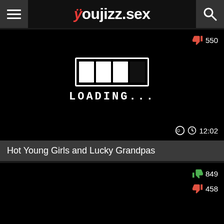youjizz.sex
[Figure (screenshot): Video thumbnail showing a loading screen with loading bar graphic and 'LOADING...' text on black background. Shows dislike count 550 and duration 12:02.]
Hot Young Girls and Lucky Grandpas
[Figure (screenshot): Second video thumbnail, black background, partially visible. Shows like count 849 and dislike count 458.]